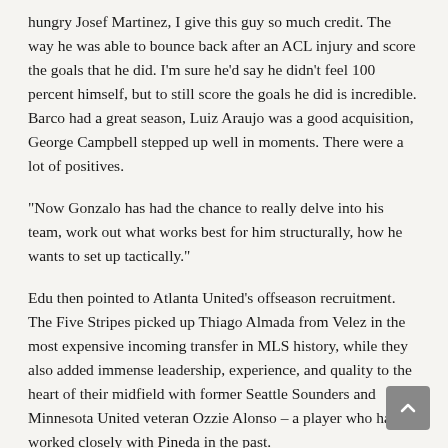hungry Josef Martinez, I give this guy so much credit. The way he was able to bounce back after an ACL injury and score the goals that he did. I'm sure he'd say he didn't feel 100 percent himself, but to still score the goals he did is incredible. Barco had a great season, Luiz Araujo was a good acquisition, George Campbell stepped up well in moments. There were a lot of positives.
“Now Gonzalo has had the chance to really delve into his team, work out what works best for him structurally, how he wants to set up tactically.”
Edu then pointed to Atlanta United’s offseason recruitment. The Five Stripes picked up Thiago Almada from Velez in the most expensive incoming transfer in MLS history, while they also added immense leadership, experience, and quality to the heart of their midfield with former Seattle Sounders and Minnesota United veteran Ozzie Alonso – a player who has worked closely with Pineda in the past.
“Thiago Almada is going to be a big player for them,” the 35‑year‑old said. “But Ozzie Alonso could also play a big part in